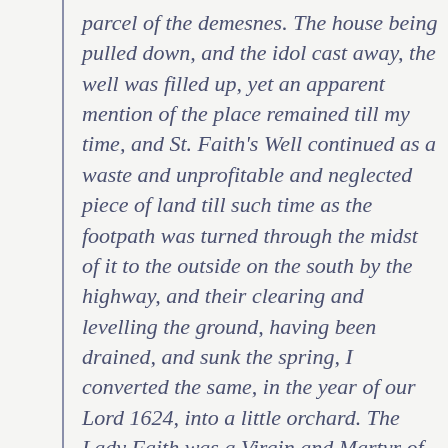parcel of the demesnes. The house being pulled down, and the idol cast away, the well was filled up, yet an apparent mention of the place remained till my time, and St. Faith's Well continued as a waste and unprofitable and neglected piece of land till such time as the footpath was turned through the midst of it to the outside on the south by the highway, and their clearing and levelling the ground, having been drained, and sunk the spring, I converted the same, in the year of our Lord 1624, into a little orchard. The Lady Faith was a Virgin and Martyr of Agenne, in France, A.D. 1290.